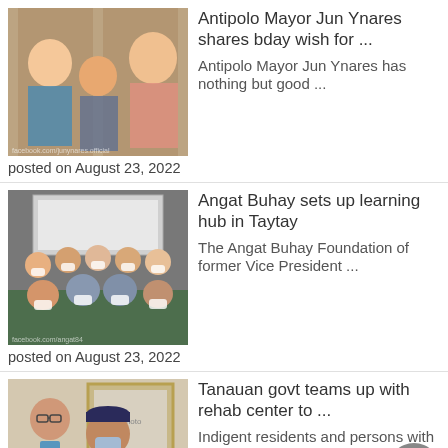[Figure (photo): Three people posing for a photo; two men and one woman, indoor setting with wooden doors in the background]
Antipolo Mayor Jun Ynares shares bday wish for ...
Antipolo Mayor Jun Ynares has nothing but good ...
posted on August 23, 2022
[Figure (photo): Group of people wearing face masks seated and standing at a table with a green tablecloth, presentation screen in background]
Angat Buhay sets up learning hub in Taytay
The Angat Buhay Foundation of former Vice President ...
posted on August 23, 2022
[Figure (photo): Two people indoors, a woman with glasses and a man wearing a cap and mask, framed picture on wall behind them]
Tanauan govt teams up with rehab center to ...
Indigent residents and persons with